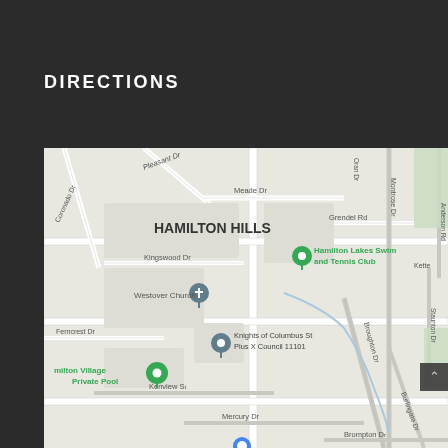DIRECTIONS
[Figure (map): Google Maps screenshot showing Hamilton Hills neighborhood with markers for Hamilton Lakes Swim and Tennis Club (green pin), Knights of Columbus St Pius X Council 11101 (grey pin), Westover Church (grey pin with cross), and Hamilton Village Private Pool (green pin). Streets visible include Pleasant Dr, Meade Dr, Grendel Rd, Kingswood Dr, Ferncrest Dr, Kenview St, Mercury Dr, Brompton Dr, Montrose Dr, Broughton Dr, Burlingate Dr, Staunton Dr, Anderson Rd, Coronado Dr.]